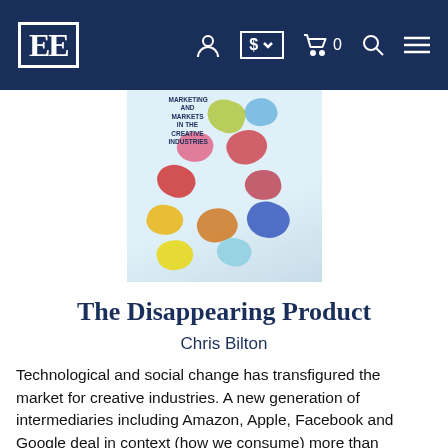EE [logo] navigation bar
[Figure (photo): Book cover of 'The Disappearing Product: Marketing and Markets in the Creative Industries' by Chris Bilton, showing colorful glass or candy-like sculptural blobs on a light background]
The Disappearing Product
Chris Bilton
Technological and social change has transfigured the market for creative industries. A new generation of intermediaries including Amazon, Apple, Facebook and Google deal in context (how we consume) more than content (what we consume) dri...